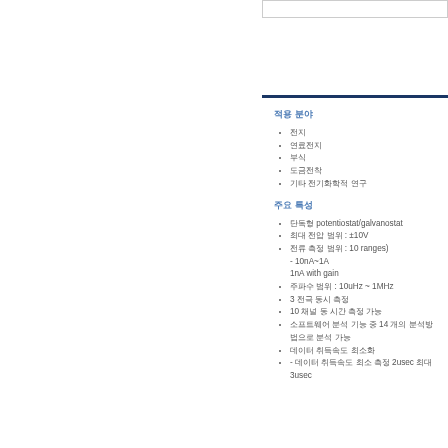적용 분야
전지
연료전지
부식
도금전착
기타 전기화학적 연구
주요 특성
단독형 potentiostat/galvanostat
최대 전압 범위 : ±10V
전류 측정 범위 : 10 ranges)
- 10nA~1A
1nA with gain
주파수 범위 : 10uHz ~ 1MHz
3 전극 동시 측정
10 채널 동 시간 측정 가능
소프트웨어 분석 기능 중 14 개의 분석방법으로 분석 가능
데이터 취득속도 최소화
- 데이터 취득속도 최소 측정 2usec 최대 3usec